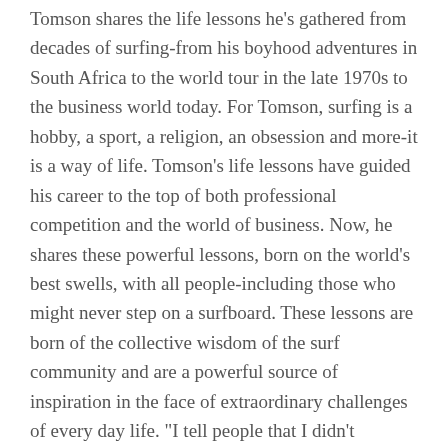Tomson shares the life lessons he's gathered from decades of surfing-from his boyhood adventures in South Africa to the world tour in the late 1970s to the business world today. For Tomson, surfing is a hobby, a sport, a religion, an obsession and more-it is a way of life. Tomson's life lessons have guided his career to the top of both professional competition and the world of business. Now, he shares these powerful lessons, born on the world's best swells, with all people-including those who might never step on a surfboard. These lessons are born of the collective wisdom of the surf community and are a powerful source of inspiration in the face of extraordinary challenges of every day life. "I tell people that I didn't develop or create the code. I simply wrote down what was out there all the time in my heart and in the hearts of many surfers, always there but sometimes overlooked. I like to think the code was always